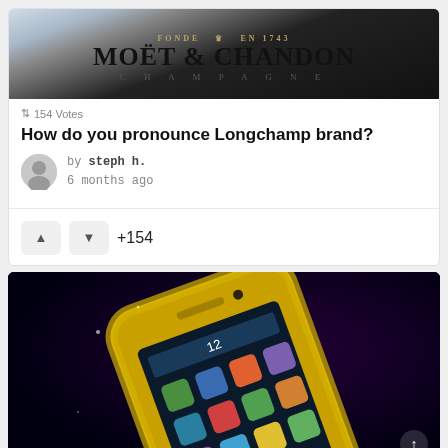[Figure (photo): Moët & Chandon champagne bottle label with gold text on dark background, showing 'FONDE EN 1743' and 'MOËT & CHANDON CHAMPAGNE']
154 Votes
How do you pronounce Longchamp brand?
by steph h.
6 months ago
+154
[Figure (photo): A gold diamond-encrusted iPhone 5 on a dark black/purple background, shown at an angle]